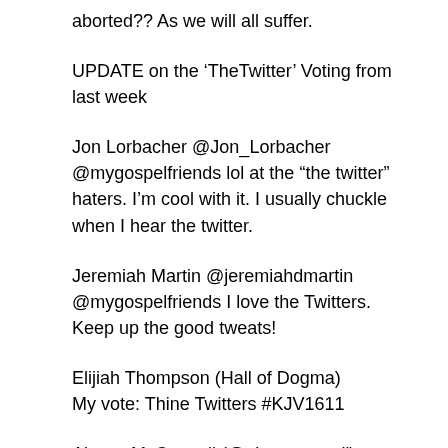aborted?? As we will all suffer.
UPDATE on the ‘TheTwitter’ Voting from last week
Jon Lorbacher @Jon_Lorbacher @mygospelfriends lol at the “the twitter” haters. I’m cool with it. I usually chuckle when I hear the twitter.
Jeremiah Martin @jeremiahdmartin @mygospelfriends I love the Twitters. Keep up the good tweats!
Elijiah Thompson (Hall of Dogma)
My vote: Thine Twitters #KJV1611
Alyson McConnell (@alymcconnell)
No to ‘TheTwitter’. And my vote counts for 10 – because I am a spouse.
@jmsuperdad I shall be forever more angered by those